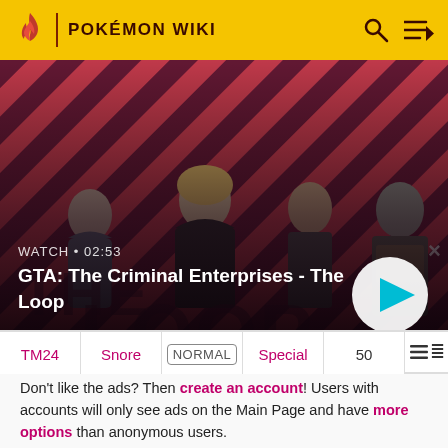POKÉMON WIKI
[Figure (screenshot): GTA: The Criminal Enterprises - The Loop video thumbnail showing four characters against a red diagonal-striped background. Text overlay: WATCH • 02:53 and GTA: The Criminal Enterprises - The Loop. A circular play button is visible on the right.]
| TM24 | Snore | NORMAL | Special | 50 |
| --- | --- | --- | --- | --- |
Don't like the ads? Then create an account! Users with accounts will only see ads on the Main Page and have more options than anonymous users.